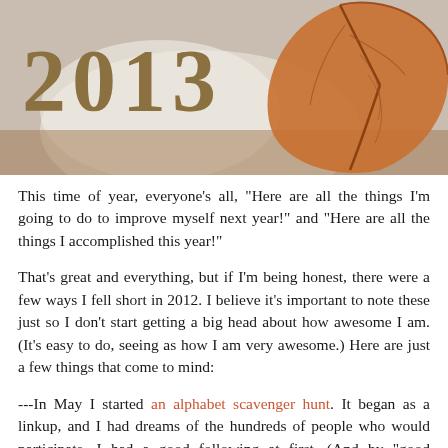[Figure (photo): Autumn/fall themed image with '2013' text in large brown letters on the left, and a dried brown leaf on the right, with a blurred soft background.]
This time of year, everyone's all, "Here are all the things I'm going to do to improve myself next year!" and "Here are all the things I accomplished this year!"
That's great and everything, but if I'm being honest, there were a few ways I fell short in 2012. I believe it's important to note these just so I don't start getting a big head about how awesome I am. (It's easy to do, seeing as how I am very awesome.) Here are just a few things that come to mind:
---In May I started an alphabet scavenger hunt. It began as a linkup, and I had dreams of the hundreds of people who would participate. I had a good following at first. (And by "good following" I mean 2.) But then it petered out, as most things do, and I was all alone. I lost motivation to do it every week because I wasn't sure how